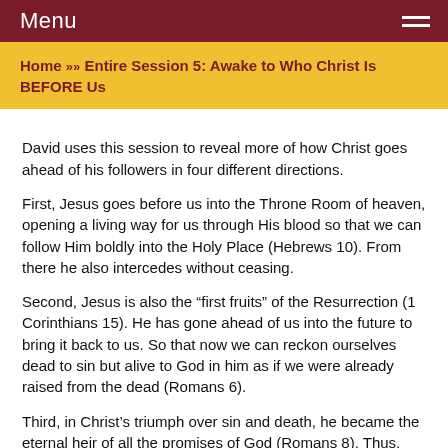Menu
Home » Entire Session 5: Awake to Who Christ Is BEFORE Us
David uses this session to reveal more of how Christ goes ahead of his followers in four different directions.
First, Jesus goes before us into the Throne Room of heaven, opening a living way for us through His blood so that we can follow Him boldly into the Holy Place (Hebrews 10). From there he also intercedes without ceasing.
Second, Jesus is also the “first fruits” of the Resurrection (1 Corinthians 15). He has gone ahead of us into the future to bring it back to us. So that now we can reckon ourselves dead to sin but alive to God in him as if we were already raised from the dead (Romans 6).
Third, in Christ’s triumph over sin and death, he became the eternal heir of all the promises of God (Romans 8). Thus, through him we may enter into those promises, as in him they become our inheritance as well (2 Corinthians 1).